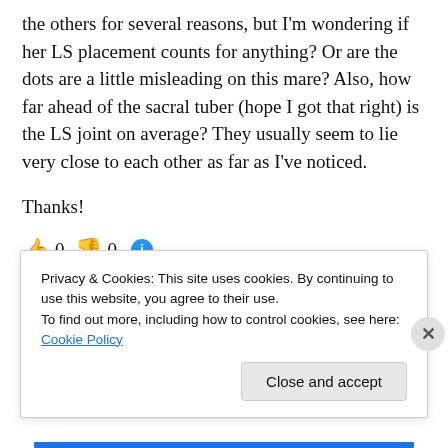the others for several reasons, but I'm wondering if her LS placement counts for anything? Or are the dots are a little misleading on this mare? Also, how far ahead of the sacral tuber (hope I got that right) is the LS joint on average? They usually seem to lie very close to each other as far as I've noticed.
Thanks!
👍 0 👎 0 ℹ
Privacy & Cookies: This site uses cookies. By continuing to use this website, you agree to their use.
To find out more, including how to control cookies, see here: Cookie Policy